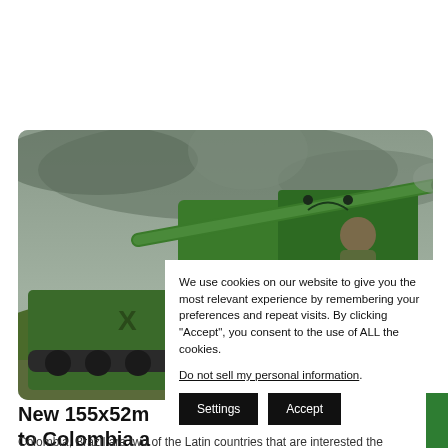[Figure (photo): Military self-propelled artillery vehicle (green) with a soldier operating a large cannon barrel, photographed against a cloudy grey sky. Lower portion shows the green armored vehicle body with smoke in the background and green hills.]
We use cookies on our website to give you the most relevant experience by remembering your preferences and repeat visits. By clicking “Accept”, you consent to the use of ALL the cookies.
Do not sell my personal information.
New 155x52m to Colombia a
Colombia, Brazil are two of the Latin countries that are interested the latest version of the French self-propelled